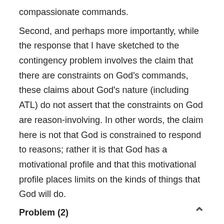compassionate commands.
Second, and perhaps more importantly, while the response that I have sketched to the contingency problem involves the claim that there are constraints on God’s commands, these claims about God’s nature (including ATL) do not assert that the constraints on God are reason-involving. In other words, the claim here is not that God is constrained to respond to reasons; rather it is that God has a motivational profile and that this motivational profile places limits on the kinds of things that God will do.
Problem (2)
The contingency problem is entirely eliminated if…